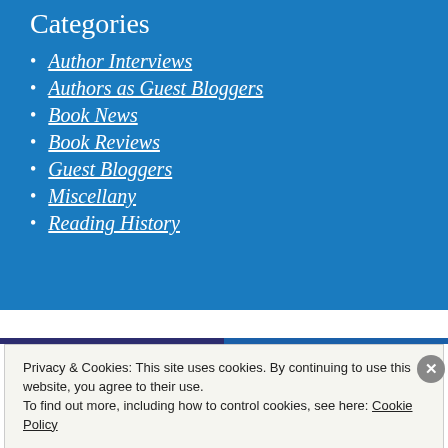Categories
Author Interviews
Authors as Guest Bloggers
Book News
Book Reviews
Guest Bloggers
Miscellany
Reading History
Privacy & Cookies: This site uses cookies. By continuing to use this website, you agree to their use.
To find out more, including how to control cookies, see here: Cookie Policy
Close and accept